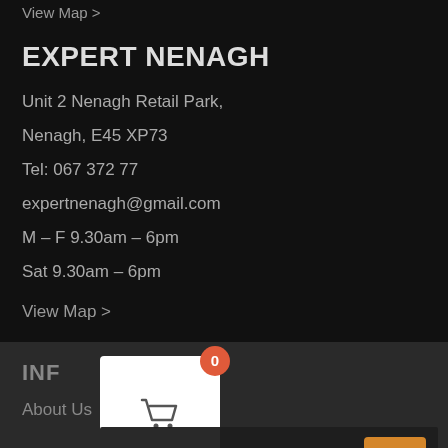View Map >
EXPERT NENAGH
Unit 2 Nenagh Retail Park,
Nenagh, E45 XP73
Tel: 067 372 77
expertnenagh@gmail.com
M – F 9.30am – 6pm
Sat 9.30am – 6pm
View Map >
INFORMATION
About Us
This website uses cookies. Read More OK